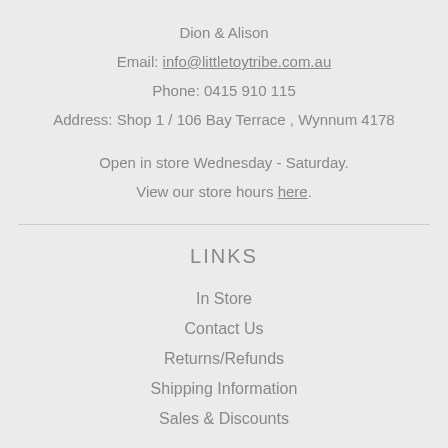Dion & Alison
Email: info@littletoytribe.com.au
Phone: 0415 910 115
Address: Shop 1 / 106 Bay Terrace , Wynnum 4178
Open in store Wednesday - Saturday. View our store hours here.
LINKS
In Store
Contact Us
Returns/Refunds
Shipping Information
Sales & Discounts